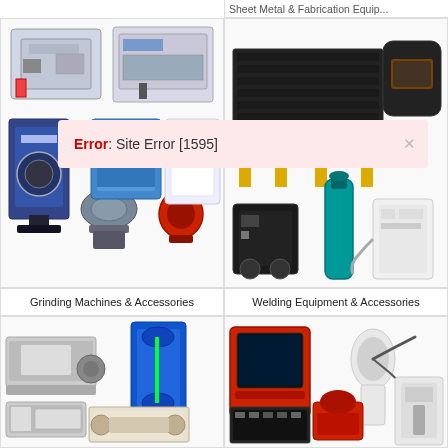Sheet Metal & Fabrication Equip...
[Figure (photo): Grinding Machines and Accessories product category image showing various grinding machines, bench grinders, and accessories]
[Figure (photo): Sheet Metal & Fabrication Equipment product category image showing a welding table and welding helmet]
Error: Site Error [1595]
[Figure (photo): Welding Equipment & Accessories product category image showing welding machines, gas cylinders, and accessories]
Grinding Machines & Accessories
Welding Equipment & Accessories
[Figure (photo): Woodworking machines including table saw, band saw, planer, and wood lathe]
[Figure (photo): Workshop equipment including sandblasting cabinet, vacuum, compressor, and hydraulic press]